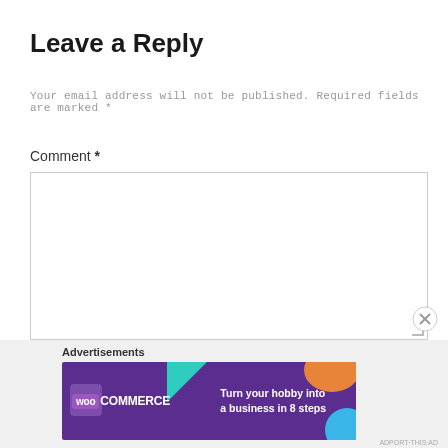Leave a Reply
Your email address will not be published. Required fields are marked *
Comment *
[Figure (other): Empty comment text area input box with resize handle]
Advertisements
[Figure (other): WooCommerce advertisement banner: Turn your hobby into a business in 8 steps]